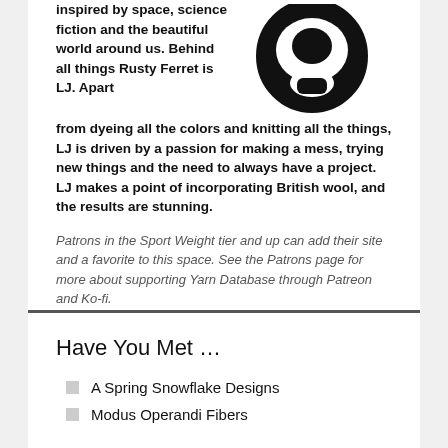inspired by space, science fiction and the beautiful world around us. Behind all things Rusty Ferret is LJ. Apart from dyeing all the colors and knitting all the things, LJ is driven by a passion for making a mess, trying new things and the need to always have a project. LJ makes a point of incorporating British wool, and the results are stunning.
[Figure (illustration): Black and white cartoon face/mask with wide open mouth, appearing like an alien or creature face, circular shape with black fill and white eye/mouth cutouts]
Patrons in the Sport Weight tier and up can add their site and a favorite to this space. See the Patrons page for more about supporting Yarn Database through Patreon and Ko-fi.
Have You Met …
A Spring Snowflake Designs
Modus Operandi Fibers